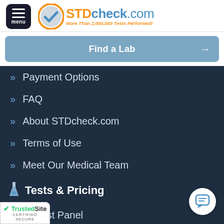[Figure (logo): STDcheck.com logo with orange circle checkmark and text 'More Than 2,000,000 Tests Performed!']
Find a Lab →
» Payment Options
» FAQ
» About STDcheck.com
» Terms of Use
» Meet Our Medical Team
🔬 Tests & Pricing
» 10 Test Panel
» Chlamydia Test
» Gonorrhea Test
» Hepatitis A Test
» Hepatitis B Test
» Hepatitis C Test